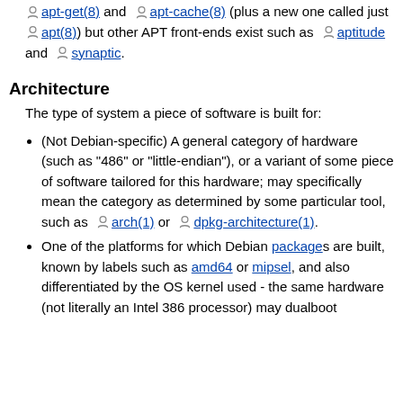apt-get(8) and apt-cache(8) (plus a new one called just apt(8)) but other APT front-ends exist such as aptitude and synaptic.
Architecture
The type of system a piece of software is built for:
(Not Debian-specific) A general category of hardware (such as "486" or "little-endian"), or a variant of some piece of software tailored for this hardware; may specifically mean the category as determined by some particular tool, such as arch(1) or dpkg-architecture(1).
One of the platforms for which Debian packages are built, known by labels such as amd64 or mipsel, and also differentiated by the OS kernel used - the same hardware (not literally an Intel 386 processor) may dualboot